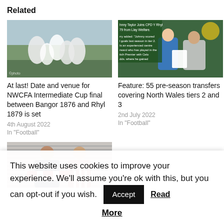Related
[Figure (photo): Football players celebrating on a pitch]
At last! Date and venue for NWCFA Intermediate Cup final between Bangor 1876 and Rhyl 1879 is set
4th August 2022
In "Football"
[Figure (photo): Johnny Taylor joins CPD Y Rhyl - man holding football shirt with another person, green background with club logo and text overlay]
Feature: 55 pre-season transfers covering North Wales tiers 2 and 3
2nd July 2022
In "Football"
[Figure (photo): Two men holding a red and white striped scarf in front of a corrugated metal wall]
This website uses cookies to improve your experience. We'll assume you're ok with this, but you can opt-out if you wish.
Accept
Read More